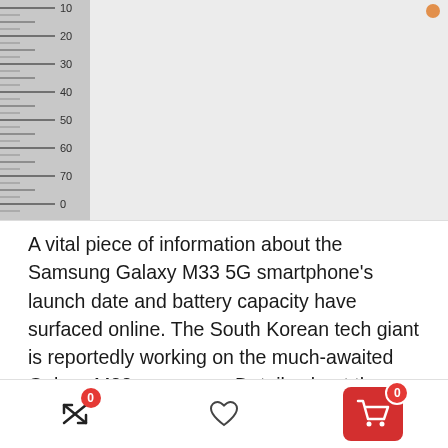[Figure (photo): Photo of a Samsung Galaxy M33 5G smartphone being measured with a ruler. The ruler is visible on the left side with measurement markings, and the phone appears against a light gray/white background.]
A vital piece of information about the Samsung Galaxy M33 5G smartphone's launch date and battery capacity have surfaced online. The South Korean tech giant is reportedly working on the much-awaited Galaxy M32 successor. Details about the smartphone have understandably been scarce. However, earlier reports claim that it carries an
0  [wishlist icon]  0 [cart icon]